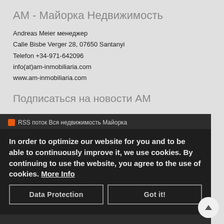АМ - Майорка Недвижимость
Andreas Meier менеджер
Calle Bisbe Verger 28, 07650 Santanyi
Telefon +34-971-642096
info(at)am-inmobiliaria.com
www.am-inmobiliaria.com
Подписаться на новости АМ
RSS поток Вся недвижимость Майорка
Майорка
Выходные данные
Заявление о конфиденциальности
Условия
In order to optimize our website for you and to be able to continuously improve it, we use cookies. By continuing to use the website, you agree to the use of cookies. More Info
© 2022 AM Inmobiliaria Mallorca
Data Protection
Got it!